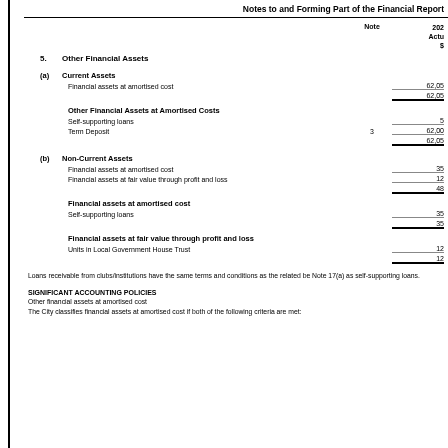Notes to and Forming Part of the Financial Report
|  |  | Note | 2022 Actual $ |
| --- | --- | --- | --- |
| 5. | Other Financial Assets |  |  |
| (a) | Current Assets |  |  |
|  | Financial assets at amortised cost |  | 62,05 |
|  |  |  | 62,05 |
|  | Other Financial Assets at Amortised Costs |  |  |
|  | Self-supporting loans |  | 5 |
|  | Term Deposit | 3 | 62,00 |
|  |  |  | 62,05 |
| (b) | Non-Current Assets |  |  |
|  | Financial assets at amortised cost |  | 35 |
|  | Financial assets at fair value through profit and loss |  | 12 |
|  |  |  | 48 |
|  | Financial assets at amortised cost |  |  |
|  | Self-supporting loans |  | 35 |
|  |  |  | 35 |
|  | Financial assets at fair value through profit and loss |  |  |
|  | Units in Local Government House Trust |  | 12 |
|  |  |  | 12 |
Loans receivable from clubs/institutions have the same terms and conditions as the related be Note 17(a) as self-supporting loans.
SIGNIFICANT ACCOUNTING POLICIES
Other financial assets at amortised cost
The City classifies financial assets at amortised cost if both of the following criteria are met: